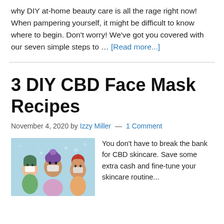why DIY at-home beauty care is all the rage right now! When pampering yourself, it might be difficult to know where to begin. Don't worry! We've got you covered with our seven simple steps to … [Read more...]
3 DIY CBD Face Mask Recipes
November 4, 2020 by Izzy Miller — 1 Comment
[Figure (illustration): Illustration of three women wearing face masks on a light blue background with snowflake decorations]
You don't have to break the bank for CBD skincare. Save some extra cash and fine-tune your skincare routine...